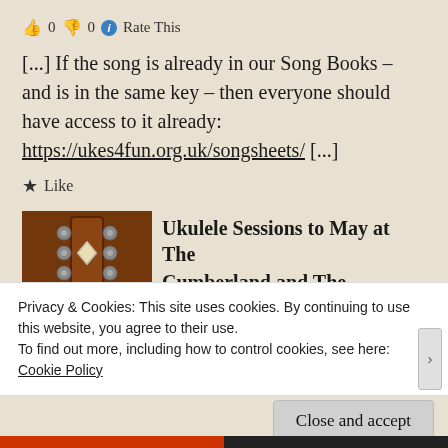👍 0 👎 0 ℹ Rate This
[...] If the song is already in our Song Books – and is in the same key – then everyone should have access to it already: https://ukes4fun.org.uk/songsheets/ [...]
★ Like
[Figure (photo): Thumbnail image of a ukulele headstock with tuning pegs on a wooden background]
Ukulele Sessions to May at The Cumberland and The Millstone | @thecumby |
Privacy & Cookies: This site uses cookies. By continuing to use this website, you agree to their use.
To find out more, including how to control cookies, see here:
Cookie Policy
Close and accept